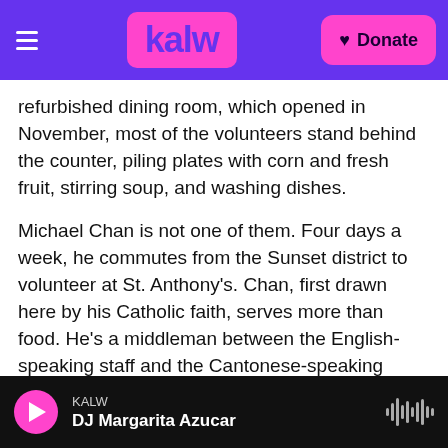KALW — [logo] — Donate
refurbished dining room, which opened in November, most of the volunteers stand behind the counter, piling plates with corn and fresh fruit, stirring soup, and washing dishes.
Michael Chan is not one of them. Four days a week, he commutes from the Sunset district to volunteer at St. Anthony's. Chan, first drawn here by his Catholic faith, serves more than food. He's a middleman between the English-speaking staff and the Cantonese-speaking diners here.
The foundation has come to rely on him. He's the
KALW — DJ Margarita Azucar